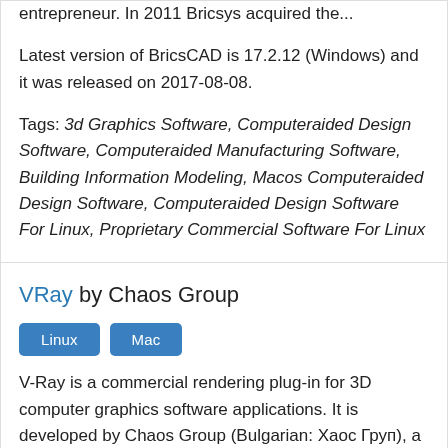entrepreneur. In 2011 Bricsys acquired the...
Latest version of BricsCAD is 17.2.12 (Windows) and it was released on 2017-08-08.
Tags: 3d Graphics Software, Computeraided Design Software, Computeraided Manufacturing Software, Building Information Modeling, Macos Computeraided Design Software, Computeraided Design Software For Linux, Proprietary Commercial Software For Linux
VRay by Chaos Group
Linux  Mac
V-Ray is a commercial rendering plug-in for 3D computer graphics software applications. It is developed by Chaos Group (Bulgarian: Хаос Груп), a Bulgarian company based in Sofia, Bulgaria,...